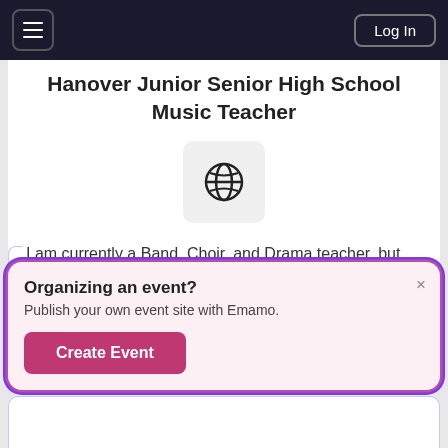Log In
Hanover Junior Senior High School Music Teacher
[Figure (illustration): Globe icon on a light gray rounded square background]
I am currently a Band, Choir, and Drama teacher, but specialize in strings. Professional bassist and freelancer.
Organizing an event?
Publish your own event site with Emamo.
Create Event